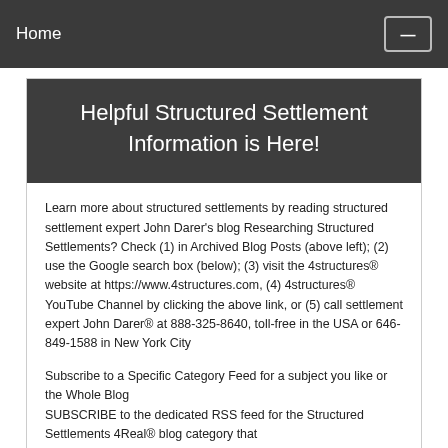Home
Helpful Structured Settlement Information is Here!
Learn more about structured settlements by reading structured settlement expert John Darer's blog Researching Structured Settlements? Check (1) in Archived Blog Posts (above left); (2) use the Google search box (below); (3) visit the 4structures® website at https://www.4structures.com, (4) 4structures® YouTube Channel by clicking the above link, or (5) call settlement expert John Darer® at 888-325-8640, toll-free in the USA or 646-849-1588 in New York City
Subscribe to a Specific Category Feed for a subject you like or the Whole Blog SUBSCRIBE to the dedicated RSS feed for the Structured Settlements 4Real® blog category that